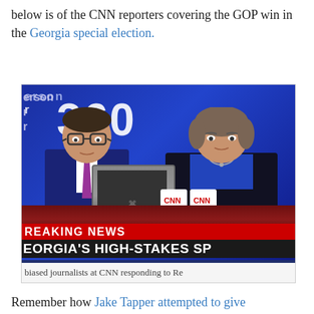below is of the CNN reporters covering the GOP win in the Georgia special election.
[Figure (screenshot): Screenshot of CNN news broadcast showing two anchors at a desk with a blue CNN studio background. The screen shows 'Anderson Cooper 360' branding, a Breaking News banner in red reading 'REAKING NEWS', a lower-third headline 'EORGIA'S HIGH-STAKES SP', and a ticker reading 'NST RUSSIA, BUT HIS HANDS ARE TIED ▶ B'. A caption below the image reads 'biased journalists at CNN responding to Re'.]
biased journalists at CNN responding to Re
Remember how Jake Tapper attempted to give